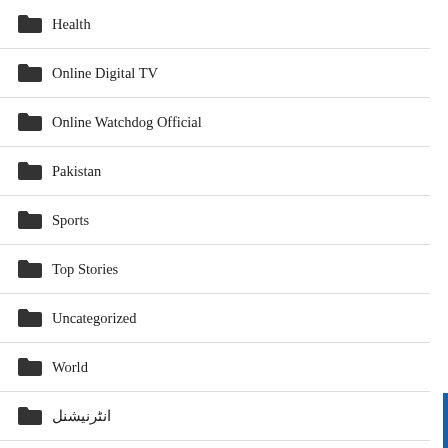Health
Online Digital TV
Online Watchdog Official
Pakistan
Sports
Top Stories
Uncategorized
World
انٹرنیشنل
اہم ترین
بچوں کی دنیا
پاکستان